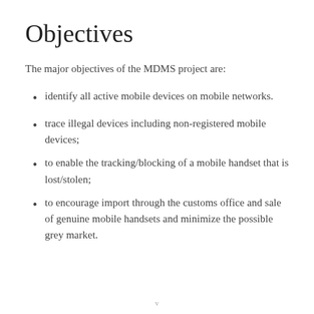Objectives
The major objectives of the MDMS project are:
identify all active mobile devices on mobile networks.
trace illegal devices including non-registered mobile devices;
to enable the tracking/blocking of a mobile handset that is lost/stolen;
to encourage import through the customs office and sale of genuine mobile handsets and minimize the possible grey market.
v